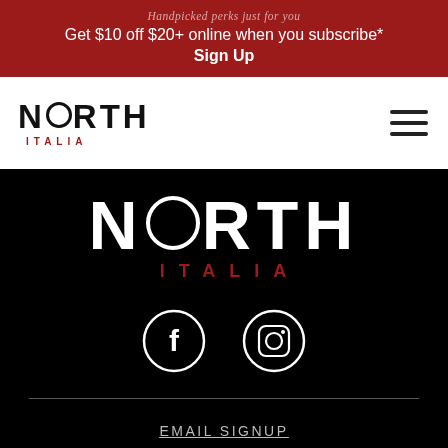Handpicked perks just for you
Get $10 off $20+ online when you subscribe*
Sign Up
[Figure (logo): North Italia logo in header navigation bar with hamburger menu icon]
[Figure (logo): North Italia large white logo on black background footer]
[Figure (infographic): Facebook and Instagram social media icons in white circle outlines]
EMAIL SIGNUP
CONTACT